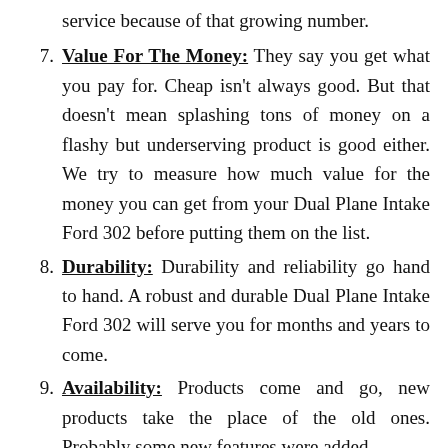service because of that growing number.
7. Value For The Money: They say you get what you pay for. Cheap isn't always good. But that doesn't mean splashing tons of money on a flashy but underserving product is good either. We try to measure how much value for the money you can get from your Dual Plane Intake Ford 302 before putting them on the list.
8. Durability: Durability and reliability go hand to hand. A robust and durable Dual Plane Intake Ford 302 will serve you for months and years to come.
9. Availability: Products come and go, new products take the place of the old ones. Probably some new features were added.